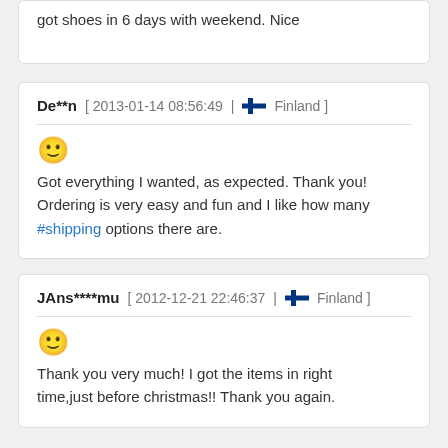got shoes in 6 days with weekend. Nice
De**n [ 2013-01-14 08:56:49 | Finland ]
Got everything I wanted, as expected. Thank you! Ordering is very easy and fun and I like how many #shipping options there are.
JAns****mu [ 2012-12-21 22:46:37 | Finland ]
Thank you very much! I got the items in right time,just before christmas!! Thank you again.